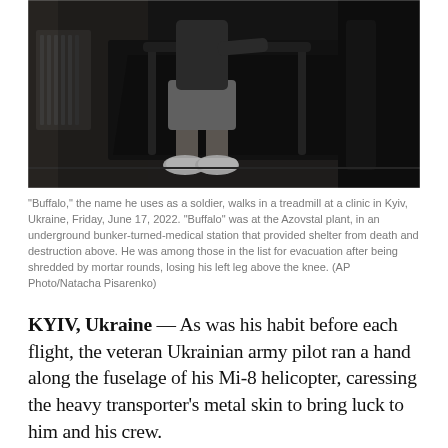[Figure (photo): A dark photograph showing a person walking on a treadmill in a clinic. The person is wearing grey pants and Crocs-style shoes. The treadmill is black and the room is dimly lit. There appears to be exercise equipment in the background.]
"Buffalo," the name he uses as a soldier, walks in a treadmill at a clinic in Kyiv, Ukraine, Friday, June 17, 2022. "Buffalo" was at the Azovstal plant, in an underground bunker-turned-medical station that provided shelter from death and destruction above. He was among those in the list for evacuation after being shredded by mortar rounds, losing his left leg above the knee. (AP Photo/Natacha Pisarenko)
KYIV, Ukraine — As was his habit before each flight, the veteran Ukrainian army pilot ran a hand along the fuselage of his Mi-8 helicopter, caressing the heavy transporter's metal skin to bring luck to him and his crew.